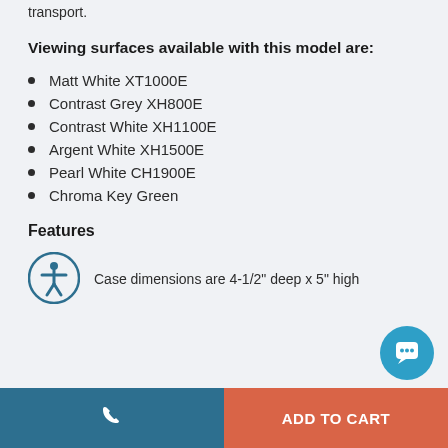transport.
Viewing surfaces available with this model are:
Matt White XT1000E
Contrast Grey XH800E
Contrast White XH1100E
Argent White XH1500E
Pearl White CH1900E
Chroma Key Green
Features
Case dimensions are 4-1/2" deep x 5" high